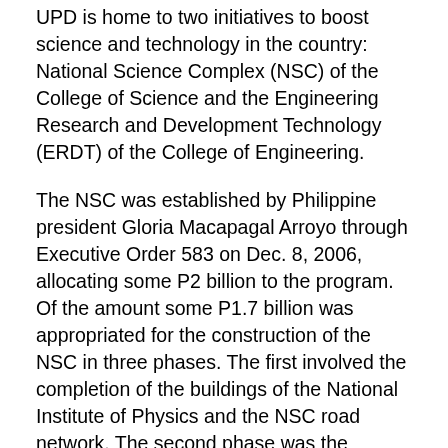UPD is home to two initiatives to boost science and technology in the country: National Science Complex (NSC) of the College of Science and the Engineering Research and Development Technology (ERDT) of the College of Engineering.
The NSC was established by Philippine president Gloria Macapagal Arroyo through Executive Order 583 on Dec. 8, 2006, allocating some P2 billion to the program. Of the amount some P1.7 billion was appropriated for the construction of the NSC in three phases. The first involved the completion of the buildings of the National Institute of Physics and the NSC road network. The second phase was the construction of buildings for the Institute of Chemistry, Institute of Biology and the National Institute for Microbiology and Biotechnology (NIMBB). The last phase involved completion of the NIMBB and construction of the Institute of Environmental Science and Meteorology, the College of Science Administration building as well as to be determined.